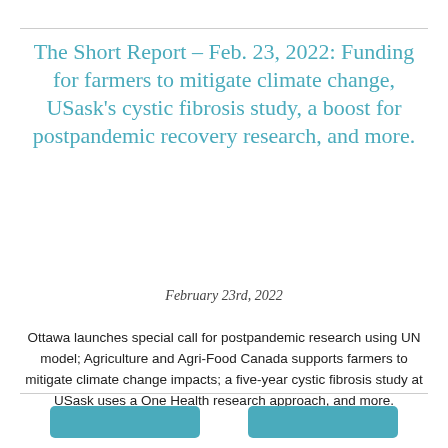The Short Report – Feb. 23, 2022: Funding for farmers to mitigate climate change, USask's cystic fibrosis study, a boost for postpandemic recovery research, and more.
February 23rd, 2022
Ottawa launches special call for postpandemic research using UN model; Agriculture and Agri-Food Canada supports farmers to mitigate climate change impacts; a five-year cystic fibrosis study at USask uses a One Health research approach, and more.